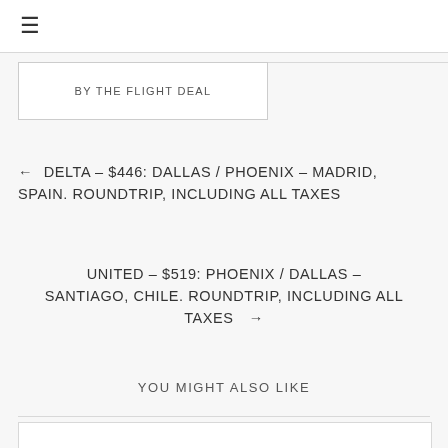≡
BY THE FLIGHT DEAL
← DELTA – $446: DALLAS / PHOENIX – MADRID, SPAIN. ROUNDTRIP, INCLUDING ALL TAXES
UNITED – $519: PHOENIX / DALLAS – SANTIAGO, CHILE. ROUNDTRIP, INCLUDING ALL TAXES →
YOU MIGHT ALSO LIKE